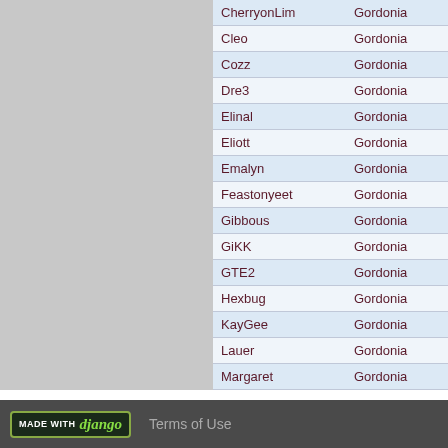| CherryonLim | Gordonia |
| Cleo | Gordonia |
| Cozz | Gordonia |
| Dre3 | Gordonia |
| Elinal | Gordonia |
| Eliott | Gordonia |
| Emalyn | Gordonia |
| Feastonyeet | Gordonia |
| Gibbous | Gordonia |
| GiKK | Gordonia |
| GTE2 | Gordonia |
| Hexbug | Gordonia |
| KayGee | Gordonia |
| Lauer | Gordonia |
| Margaret | Gordonia |
1  view all
MADE WITH django   Terms of Use